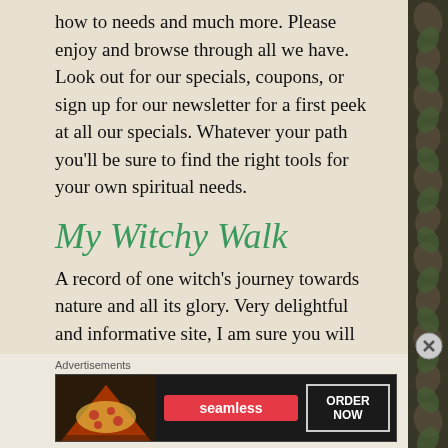how to needs and much more. Please enjoy and browse through all we have. Look out for our specials, coupons, or sign up for our newsletter for a first peek at all our specials. Whatever your path you'll be sure to find the right tools for your own spiritual needs.
My Witchy Walk
A record of one witch's journey towards nature and all its glory. Very delightful and informative site, I am sure you will enjoy your visit to this site.
Advertisements
[Figure (other): Dark teal advertisement banner with text 'Opinions. We all have them!' and WordPress and Read Now logos on the right.]
Advertisements
[Figure (other): Dark advertisement banner for Seamless food delivery with pizza image on left, red Seamless badge in middle, and 'ORDER NOW' box on right.]